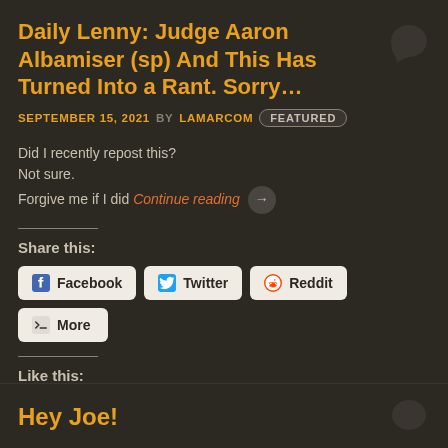Daily Lenny: Judge Aaron Albamiser (sp) And This Has Turned Into a Rant. Sorry…
SEPTEMBER 15, 2021 BY LAMARCOM FEATURED
Did I recently repost this?
Not sure.
Forgive me if I did Continue reading →
Share this:
Facebook  Twitter  Reddit  More
Like this:
Loading…
Hey Joe!